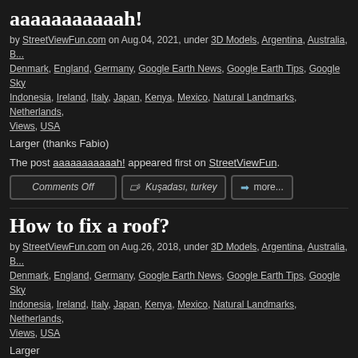aaaaaaaaaaah!
by StreetViewFun.com on Aug.04, 2021, under 3D Models, Argentina, Australia, B... Denmark, England, Germany, Google Earth News, Google Earth Tips, Google Sky, Indonesia, Ireland, Italy, Japan, Kenya, Mexico, Natural Landmarks, Netherlands, Views, USA
Larger (thanks Fabio)
The post aaaaaaaaaaah! appeared first on StreetViewFun.
Comments Off | Kuşadası, turkey | more...
How to fix a roof?
by StreetViewFun.com on Aug.26, 2018, under 3D Models, Argentina, Australia, B... Denmark, England, Germany, Google Earth News, Google Earth Tips, Google Sky, Indonesia, Ireland, Italy, Japan, Kenya, Mexico, Natural Landmarks, Netherlands, Views, USA
Larger
Comments Off | construction, funny street view, turkey | more...
Target practice in Turkey
by StreetViewFun.com on Jun.03, 2018, under 3D Models, Argentina, Australia, B... Denmark, England, Germany, Google Earth News, Google Earth Tips, Google Sky...